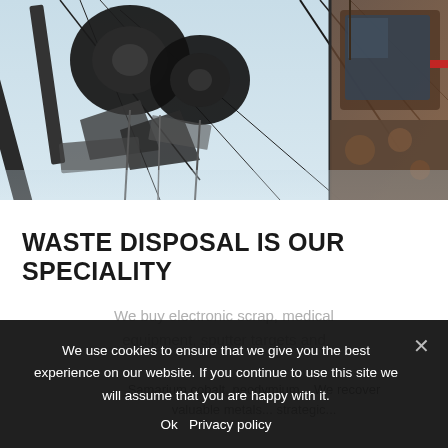[Figure (photo): Industrial crane or excavator machinery holding scrap metal/tires against a light blue sky, viewed from below. Right side shows a rusted machinery cab.]
WASTE DISPOSAL IS OUR SPECIALITY
We buy electronic scrap, medical equipment, sputter targets and
Samarium cobalt, neodymium... We recover valuable metals... strategic...
We use cookies to ensure that we give you the best experience on our website. If you continue to use this site we will assume that you are happy with it.
Ok  Privacy policy